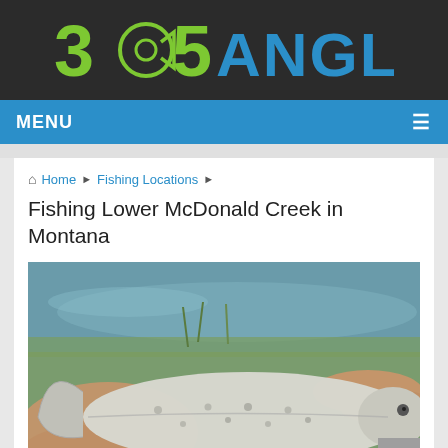365 ANGLER
MENU
Home › Fishing Locations ›
Fishing Lower McDonald Creek in Montana
[Figure (photo): Hands holding a trout fish near a creek with water and grass in the background]